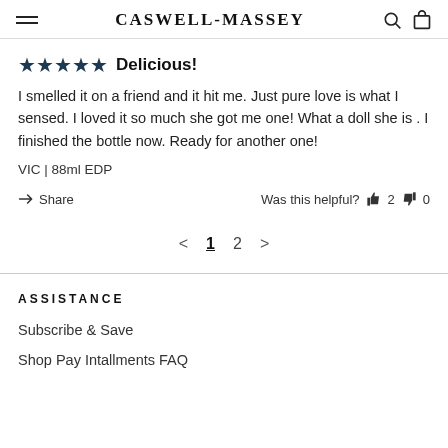CASWELL-MASSEY
★★★★★ Delicious!
I smelled it on a friend and it hit me. Just pure love is what I sensed. I loved it so much she got me one! What a doll she is . I finished the bottle now. Ready for another one!
VIC | 88ml EDP
Share | Was this helpful? 👍 2 👎 0
< 1 2 >
ASSISTANCE
Subscribe & Save
Shop Pay Intallments FAQ